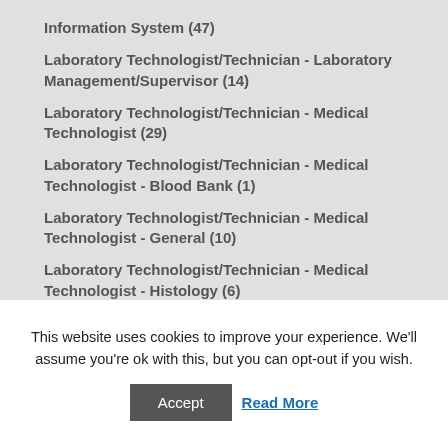Information System (47)
Laboratory Technologist/Technician - Laboratory Management/Supervisor (14)
Laboratory Technologist/Technician - Medical Technologist (29)
Laboratory Technologist/Technician - Medical Technologist - Blood Bank (1)
Laboratory Technologist/Technician - Medical Technologist - General (10)
Laboratory Technologist/Technician - Medical Technologist - Histology (6)
This website uses cookies to improve your experience. We'll assume you're ok with this, but you can opt-out if you wish.
Accept  Read More